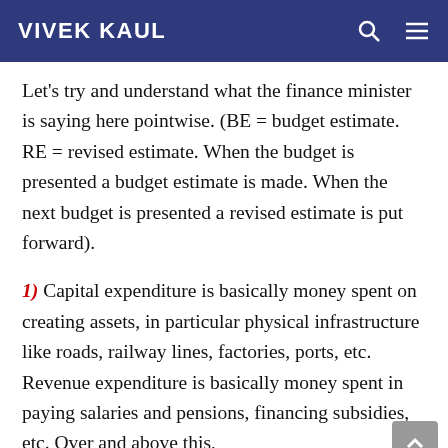VIVEK KAUL
Let's try and understand what the finance minister is saying here pointwise. (BE = budget estimate. RE = revised estimate. When the budget is presented a budget estimate is made. When the next budget is presented a revised estimate is put forward).
1) Capital expenditure is basically money spent on creating assets, in particular physical infrastructure like roads, railway lines, factories, ports, etc. Revenue expenditure is basically money spent in paying salaries and pensions, financing subsidies, etc. Over and above this,